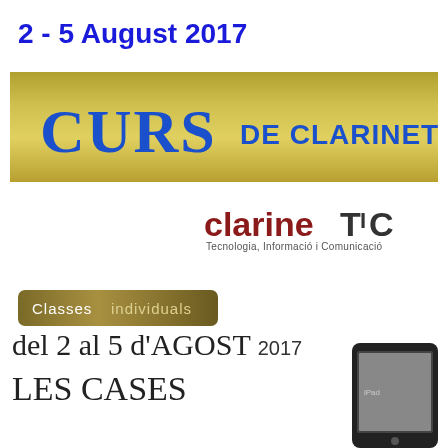2 - 5 August 2017
[Figure (illustration): Golden/yellow gradient banner with text 'CURS DE CLARINET' in bold blue letters]
[Figure (logo): ClarineTIC logo with red 'clarine' text and dark 'TIC' text, with tagline 'Tecnologia, Informació i Comunicació']
[Figure (illustration): Brown/gold rounded badge with text 'Classes individuals']
del 2 al 5 d'AGOST 2017
LES CASES
[Figure (illustration): iPad/tablet device shown in bottom right corner]